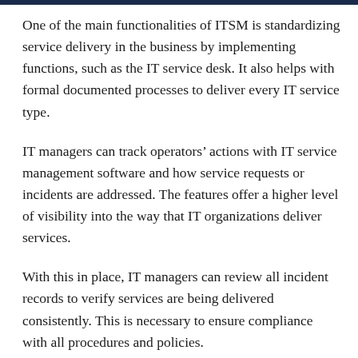One of the main functionalities of ITSM is standardizing service delivery in the business by implementing functions, such as the IT service desk. It also helps with formal documented processes to deliver every IT service type.
IT managers can track operators' actions with IT service management software and how service requests or incidents are addressed. The features offer a higher level of visibility into the way that IT organizations deliver services.
With this in place, IT managers can review all incident records to verify services are being delivered consistently. This is necessary to ensure compliance with all procedures and policies.